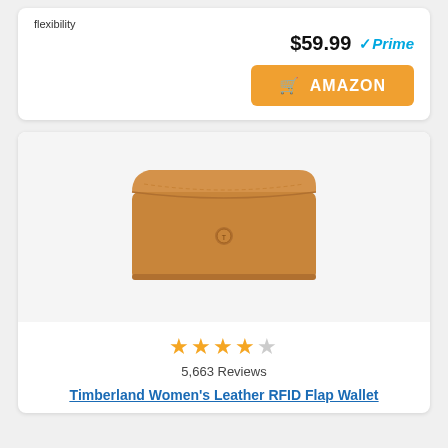flexibility
$59.99 Prime
[Figure (other): Amazon buy button with cart icon and orange background]
[Figure (photo): Timberland Women's Leather RFID Flap Wallet in tan/brown color]
5,663 Reviews
Timberland Women's Leather RFID Flap Wallet